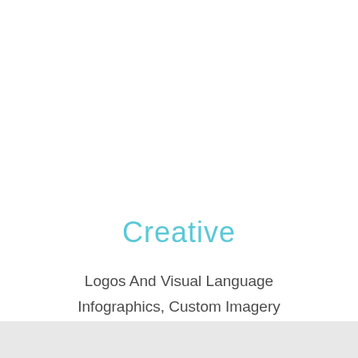Creative
Logos And Visual Language
Infographics, Custom Imagery
Banner Ads
Landing Pages
Advertisements